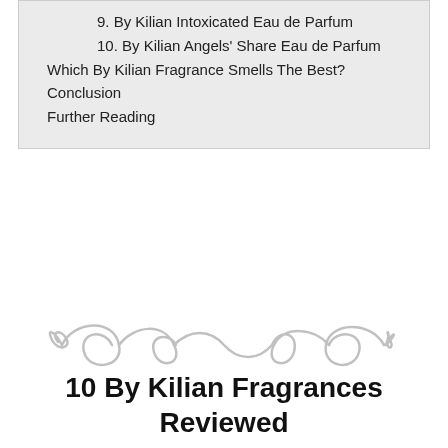9. By Kilian Intoxicated Eau de Parfum
10. By Kilian Angels' Share Eau de Parfum
Which By Kilian Fragrance Smells The Best?
Conclusion
Further Reading
[Figure (illustration): Decorative ornamental scroll divider in light gray]
10 By Kilian Fragrances Reviewed